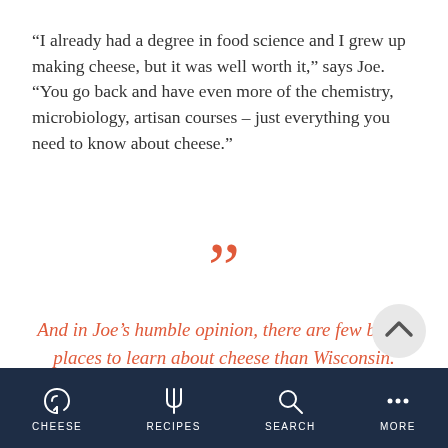“I already had a degree in food science and I grew up making cheese, but it was well worth it,” says Joe. “You go back and have even more of the chemistry, microbiology, artisan courses – just everything you need to know about cheese.”
[Figure (illustration): Decorative closing double quotation mark icon in coral/orange color]
And in Joe’s humble opinion, there are few better places to learn about cheese than Wisconsin.
[Figure (illustration): Decorative opening double quotation mark icon in coral/orange color]
[Figure (illustration): Circular up-arrow scroll button]
CHEESE   RECIPES   SEARCH   MORE